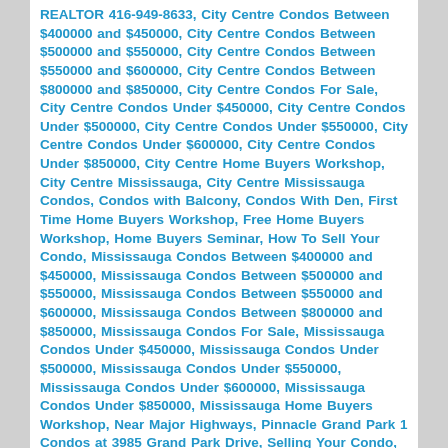REALTOR 416-949-8633, City Centre Condos Between $400000 and $450000, City Centre Condos Between $500000 and $550000, City Centre Condos Between $550000 and $600000, City Centre Condos Between $800000 and $850000, City Centre Condos For Sale, City Centre Condos Under $450000, City Centre Condos Under $500000, City Centre Condos Under $550000, City Centre Condos Under $600000, City Centre Condos Under $850000, City Centre Home Buyers Workshop, City Centre Mississauga, City Centre Mississauga Condos, Condos with Balcony, Condos With Den, First Time Home Buyers Workshop, Free Home Buyers Workshop, Home Buyers Seminar, How To Sell Your Condo, Mississauga Condos Between $400000 and $450000, Mississauga Condos Between $500000 and $550000, Mississauga Condos Between $550000 and $600000, Mississauga Condos Between $800000 and $850000, Mississauga Condos For Sale, Mississauga Condos Under $450000, Mississauga Condos Under $500000, Mississauga Condos Under $550000, Mississauga Condos Under $600000, Mississauga Condos Under $850000, Mississauga Home Buyers Workshop, Near Major Highways, Pinnacle Grand Park 1 Condos at 3985 Grand Park Drive, Selling Your Condo, Selling Your Home, Sheridan College Mississauga, Square One Condos, Square One Condos Between